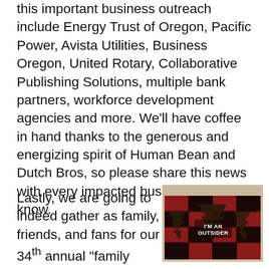this important business outreach include Energy Trust of Oregon, Pacific Power, Avista Utilities, Business Oregon, United Rotary, Collaborative Publishing Solutions, multiple bank partners, workforce development agencies and more. We'll have coffee in hand thanks to the generous and energizing spirit of Human Bean and Dutch Bros, so please share this news with every impacted business you know.
Lastly, we are going to indeed gather as family, friends, and fans for our 34th annual “family reunion” meeting, in the spirit of One Rogue Valley, on June 30 at the Blue Heron Park in Phoenix. It will
[Figure (photo): A decorative wooden sign with pine trees in a buffalo plaid pattern (red/black checks), reading 'I'M AN OUTSIDER' in white text, placed on a textured background.]